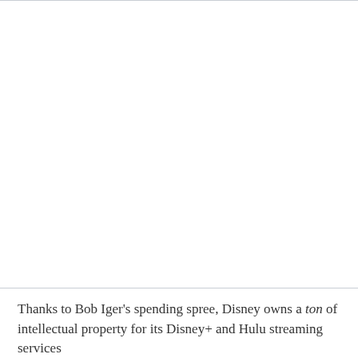Thanks to Bob Iger's spending spree, Disney owns a ton of intellectual property for its Disney+ and Hulu streaming services